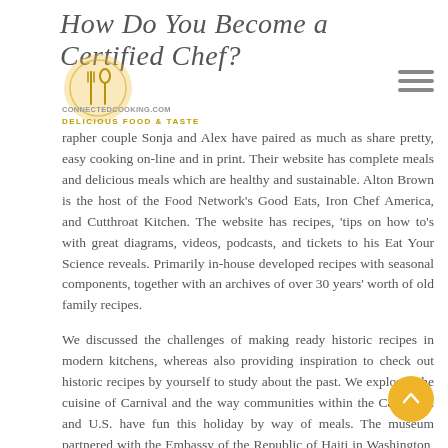How Do You Become a Certified Chef?
[Figure (logo): Circular logo with fork and spoon icon, gold/yellow color]
CONNECTEDCOOKING.COM
DELICIOUS FOOD & TASTE
rapher couple Sonja and Alex have paired as much as share pretty, easy cooking on-line and in print. Their website has complete meals and delicious meals which are healthy and sustainable. Alton Brown is the host of the Food Network's Good Eats, Iron Chef America, and Cutthroat Kitchen. The website has recipes, 'tips on how to's with great diagrams, videos, podcasts, and tickets to his Eat Your Science reveals. Primarily in-house developed recipes with seasonal components, together with an archives of over 30 years' worth of old family recipes.
We discussed the challenges of making ready historic recipes in modern kitchens, whereas also providing inspiration to check out historic recipes by yourself to study about the past. We explored the cuisine of Carnival and the way communities within the Caribbean and U.S. have fun this holiday by way of meals. The museum partnered with the Embassy of the Republic of Haiti in Washington, D.C. and the